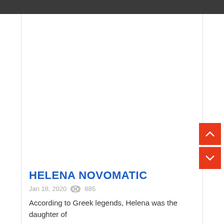HELENA NOVOMATIC
Jan 18, 2020  885
According to Greek legends, Helena was the daughter of